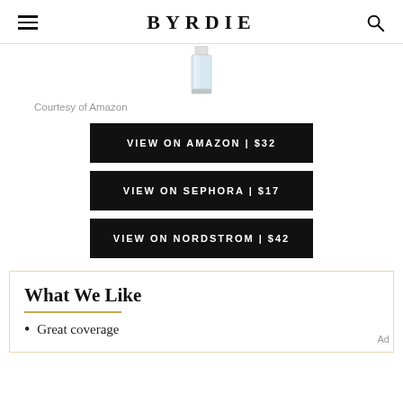BYRDIE
[Figure (photo): Product image of a cosmetic item (appears to be a foundation or similar beauty product in a glass/clear bottle), partially cropped at top]
Courtesy of Amazon
VIEW ON AMAZON | $32
VIEW ON SEPHORA | $17
VIEW ON NORDSTROM | $42
What We Like
Great coverage